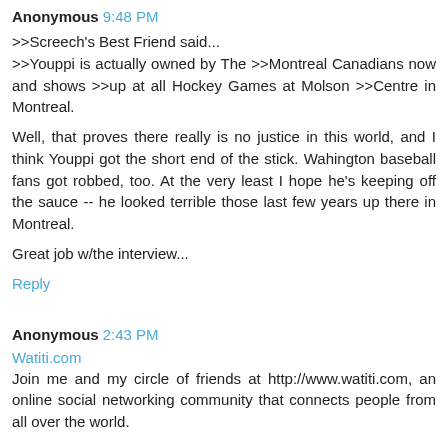Anonymous 9:48 PM
>>Screech's Best Friend said...
>>Youppi is actually owned by The >>Montreal Canadians now and shows >>up at all Hockey Games at Molson >>Centre in Montreal.

Well, that proves there really is no justice in this world, and I think Youppi got the short end of the stick. Wahington baseball fans got robbed, too. At the very least I hope he's keeping off the sauce -- he looked terrible those last few years up there in Montreal.

Great job w/the interview...
Reply
Anonymous 2:43 PM
Watiti.com
Join me and my circle of friends at http://www.watiti.com, an online social networking community that connects people from all over the world.